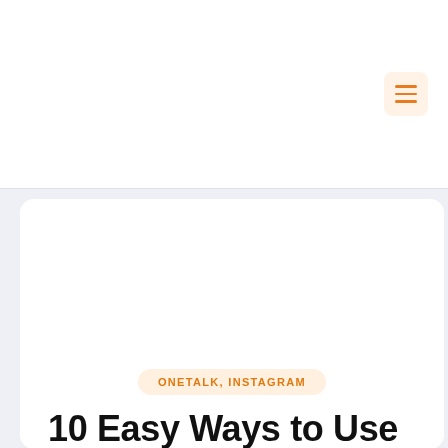[Figure (screenshot): Navigation menu button (hamburger icon) with orange lines on a light orange background, positioned in the upper right corner]
ONETALK, INSTAGRAM
10 Easy Ways to Use